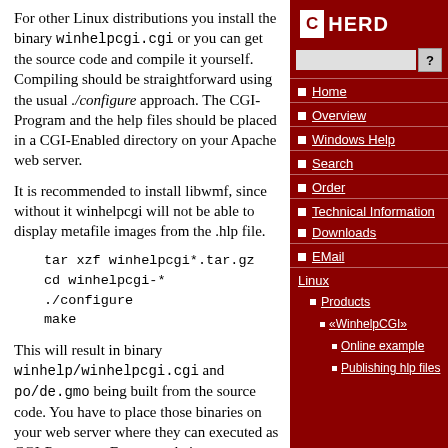For other Linux distributions you install the binary winhelpcgi.cgi or you can get the source code and compile it yourself. Compiling should be straightforward using the usual ./configure approach. The CGI-Program and the help files should be placed in a CGI-Enabled directory on your Apache web server.
It is recommended to install libwmf, since without it winhelpcgi will not be able to display metafile images from the .hlp file.
This will result in binary winhelp/winhelpcgi.cgi and po/de.gmo being built from the source code. You have to place those binaries on your web server where they can executed as CGI-Programs. For example is /usr/lib/cgi-bin is prepared for CGI
[Figure (logo): CHERD logo with red background, white C in a box and HERD text]
Home
Overview
Windows Help
Search
Order
Technical Information
Downloads
EMail
Linux
Products
«WinhelpCGI»
Online example
Publishing hlp files